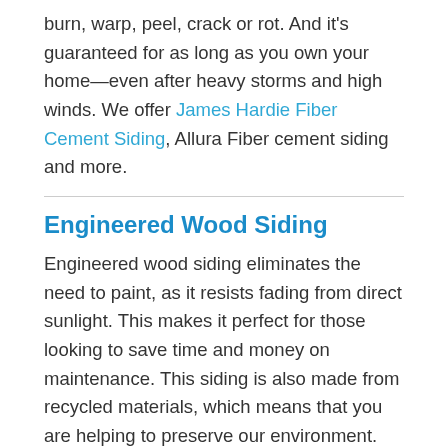burn, warp, peel, crack or rot. And it's guaranteed for as long as you own your home—even after heavy storms and high winds. We offer James Hardie Fiber Cement Siding, Allura Fiber cement siding and more.
Engineered Wood Siding
Engineered wood siding eliminates the need to paint, as it resists fading from direct sunlight. This makes it perfect for those looking to save time and money on maintenance. This siding is also made from recycled materials, which means that you are helping to preserve our environment.
We offer LP SmartSide Engineered Wood...